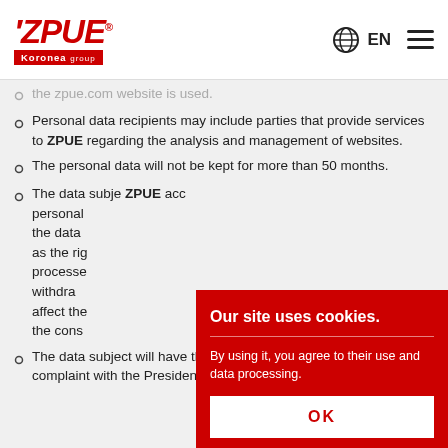[Figure (logo): ZPUE Koronea group logo in red with black label]
EN language selector with globe icon and hamburger menu
the zpue.com website is used. (partial, faded)
Personal data recipients may include parties that provide services to ZPUE regarding the analysis and management of websites.
The personal data will not be kept for more than 50 months.
The data subject will have the right to request ZPUE access to and rectification or erasure of personal data or restriction of processing, the data subject will have the right to object as the right to data portability, if data is processed on the basis of consent, which may be withdrawn at any time, whereas the withdrawal affect the lawfulness of processing based on the consent...
The data subject will have the right to lodge a complaint with the President of the Office for Personal...
Cookie banner: Our site uses cookies. By using it, you agree to their use and data processing. OK. Additional information.